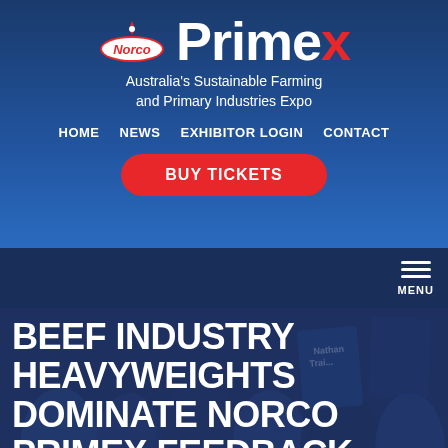[Figure (logo): Norco Primex logo — 'Norco' in red italic with a red dot above, 'Primex' in large bold white with red X, on blue background]
Australia's Sustainable Farming and Primary Industries Expo
HOME   NEWS   EXHIBITOR LOGIN   CONTACT
BUY TICKETS
MENU
BEEF INDUSTRY HEAVYWEIGHTS DOMINATE NORCO PRIMEX FEEDBACK COMPETITION